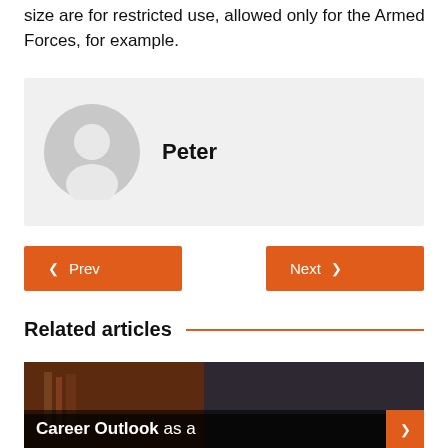size are for restricted use, allowed only for the Armed Forces, for example.
[Figure (illustration): Author card with gray placeholder avatar icon and name 'Peter' on light gray background]
Prev
Next
Related articles
[Figure (photo): Photo of a person at a desk with equipment, dark overlay at bottom with text 'Career Outlook as a']